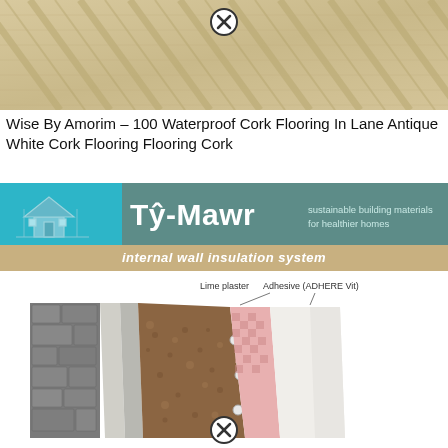[Figure (photo): Close-up photo of cork flooring with diagonal striped wood grain pattern in beige/tan tones]
Wise By Amorim – 100 Waterproof Cork Flooring In Lane Antique White Cork Flooring Flooring Cork
[Figure (logo): Tŷ-Mawr sustainable building materials for healthier homes banner with internal wall insulation system tagline]
[Figure (engineering-diagram): Cross-section diagram of internal wall insulation system showing stone wall, lime plaster, adhesive (ADHERE Vit), cork insulation layers and fixings]